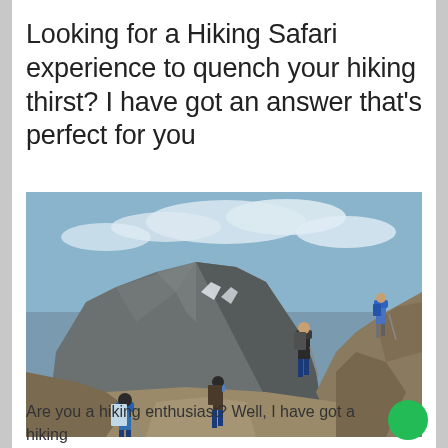Looking for a Hiking Safari experience to quench your hiking thirst? I have got an answer that's perfect for you
[Figure (photo): Hikers with backpacks and trekking poles climbing rocky mountain trail with dramatic rocky peak and blue sky with clouds in background]
Are you a hiking enthusiast? Well, I have got a hiking